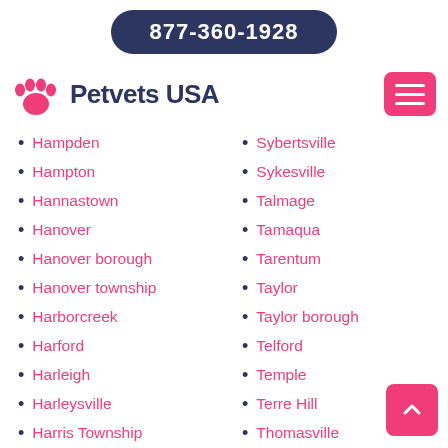877-360-1928
Petvets USA
Hampden
Hampton
Hannastown
Hanover
Hanover borough
Hanover township
Harborcreek
Harford
Harleigh
Harleysville
Harris Township
Harrisburg
Harrison
Sybertsville
Sykesville
Talmage
Tamaqua
Tarentum
Taylor
Taylor borough
Telford
Temple
Terre Hill
Thomasville
Thompson
Thornbury township